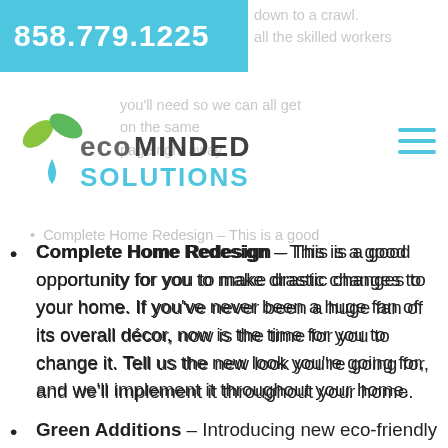858.779.1225
[Figure (logo): Eco Minded Solutions logo with green leaves and blue water drop icon]
Complete Home Redesign – This is a good opportunity for you to make drastic changes to your home. If you've never been a huge fan of its overall décor, now is the time for you to change it. Tell us the new look you're going for, and we'll implement it throughout your home.
Green Additions – Introducing new eco-friendly features is easier during the remodeling project. We can integrate more natural light into your home, make changes to improve airflow, and even add some renewable energy sources if you so desire.